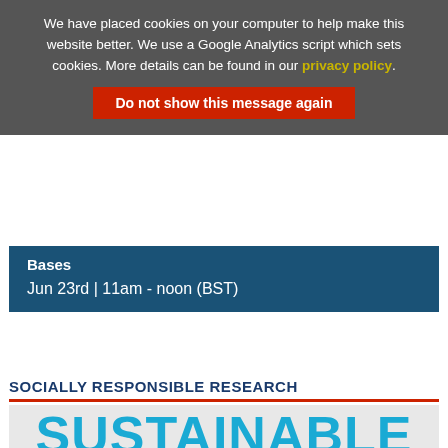We have placed cookies on your computer to help make this website better. We use a Google Analytics script which sets cookies. More details can be found in our privacy policy.
Do not show this message again
Bases
Jun 23rd | 11am - noon (BST)
SOCIALLY RESPONSIBLE RESEARCH
[Figure (illustration): UN Sustainable Development Goals logo with large bold text reading SUSTAINABLE DEVELOPMENT GOALS and the colorful SDG wheel replacing the O in GOALS]